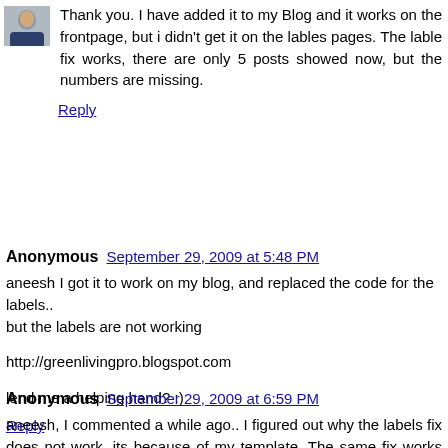[Figure (photo): Small avatar photo of a man in a suit, top-left of first comment]
Thank you. I have added it to my Blog and it works on the frontpage, but i didn't get it on the lables pages. The lable fix works, there are only 5 posts showed now, but the numbers are missing.
Reply
Anonymous  September 29, 2009 at 5:48 PM
aneesh I got it to work on my blog, and replaced the code for the labels..
but the labels are not working

http://greenlivingpro.blogspot.com

lend me a helping hand? :)
Reply
Anonymous  September 29, 2009 at 6:59 PM
aneesh, I commented a while ago.. I figured out why the labels fix does not work, its because of my template. The same fix works on another template. However, because I dont have the technical knowledge, I cant fix it. You have the expertise, you think you can figure out some fix? Maybe some code has to be removed, or added.